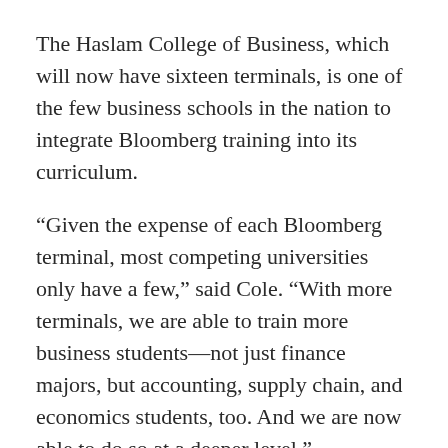The Haslam College of Business, which will now have sixteen terminals, is one of the few business schools in the nation to integrate Bloomberg training into its curriculum.
“Given the expense of each Bloomberg terminal, most competing universities only have a few,” said Cole. “With more terminals, we are able to train more business students—not just finance majors, but accounting, supply chain, and economics students, too. And we are now able to do so at a deeper level.”
A check presentation was held in the Masters Investment Learning Center on